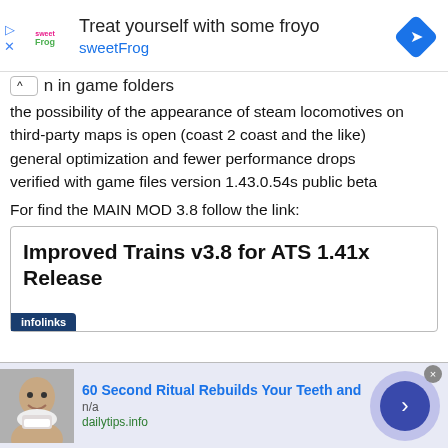[Figure (screenshot): Ad banner for sweetFrog frozen yogurt: logo, text 'Treat yourself with some froyo sweetFrog', navigation diamond icon]
on in game folders
the possibility of the appearance of steam locomotives on third-party maps is open (coast 2 coast and the like)
general optimization and fewer performance drops
verified with game files version 1.43.0.54s public beta
For find the MAIN MOD 3.8 follow the link:
[Figure (screenshot): Embedded link card: 'Improved Trains v3.8 for ATS 1.41x Release' with infolinks bar at bottom]
[Figure (screenshot): Bottom infolinks ad: '60 Second Ritual Rebuilds Your Teeth and', n/a, dailytips.info, with person image and blue circle arrow button, close X]